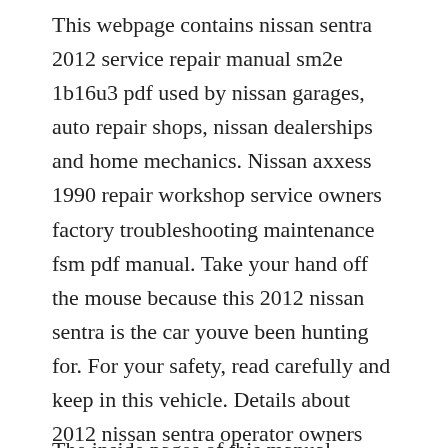This webpage contains nissan sentra 2012 service repair manual sm2e 1b16u3 pdf used by nissan garages, auto repair shops, nissan dealerships and home mechanics. Nissan axxess 1990 repair workshop service owners factory troubleshooting maintenance fsm pdf manual. Take your hand off the mouse because this 2012 nissan sentra is the car youve been hunting for. For your safety, read carefully and keep in this vehicle. Details about 2012 nissan sentra operator owners manual user guide w373e.
The inside pages of this manual...